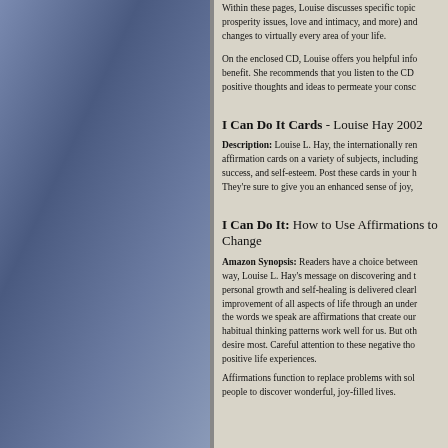Within these pages, Louise discusses specific topics (prosperity issues, love and intimacy, and more) and changes to virtually every area of your life.
On the enclosed CD, Louise offers you helpful info benefit. She recommends that you listen to the CD positive thoughts and ideas to permeate your consc
I Can Do It Cards - Louise Hay 2002
Description: Louise L. Hay, the internationally ren affirmation cards on a variety of subjects, including success, and self-esteem. Post these cards in your h They're sure to give you an enhanced sense of joy,
I Can Do It: How to Use Affirmations to Change
Amazon Synopsis: Readers have a choice between way, Louise L. Hay's message on discovering and t personal growth and self-healing is delivered clearl improvement of all aspects of life through an under the words we speak are affirmations that create our habitual thinking patterns work well for us. But oth desire most. Careful attention to these negative tho positive life experiences.
Affirmations function to replace problems with sol people to discover wonderful, joy-filled lives.